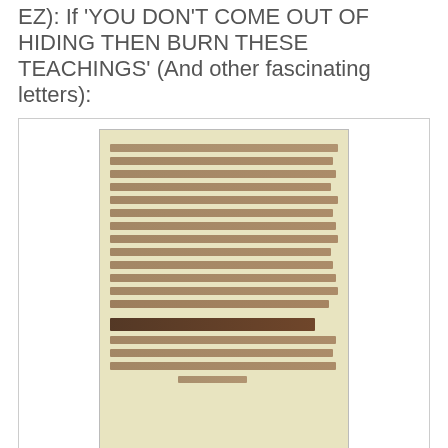EZ): If 'YOU DON'T COME OUT OF HIDING THEN BURN THESE TEACHINGS' (And other fascinating letters):
[Figure (photo): A photograph of a handwritten manuscript page in Hebrew/Aramaic script, yellowed parchment with multiple lines of cursive Hebrew text and a decorative heading line in larger script.]
A sample of the writing of the Rav of Rashkov, the scribe who copied the Sefer haTzoref for the Baal Shem Tov (see Document 32).
LETTERS FROM THE CHERSON GENIZA TRANSLATED INTO ENGLISH FOR THE FIRST TIME.